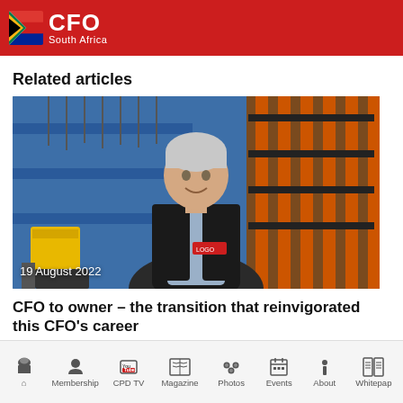CFO South Africa
Related articles
[Figure (photo): Woman with short grey hair smiling in an industrial warehouse setting with blue and orange shelving equipment. Date overlay reads 19 August 2022.]
CFO to owner – the transition that reinvigorated this CFO's career
Home | Membership | CPD TV | Magazine | Photos | Events | About | Whitepaper